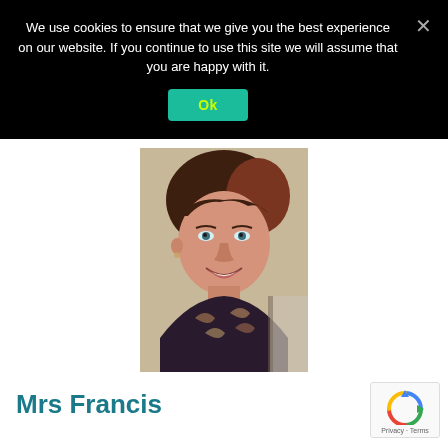We use cookies to ensure that we give you the best experience on our website. If you continue to use this site we will assume that you are happy with it.
[Figure (photo): Portrait photo of a woman with short reddish-brown hair, smiling, wearing a patterned top]
Mrs Francis